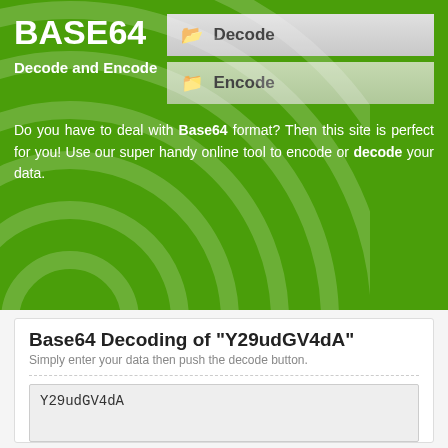BASE64
Decode and Encode
[Figure (screenshot): Decode button with folder icon, gray gradient background]
[Figure (screenshot): Encode button with folder icon, light green background]
Do you have to deal with Base64 format? Then this site is perfect for you! Use our super handy online tool to encode or decode your data.
Base64 Decoding of "Y29udGV4dA"
Simply enter your data then push the decode button.
Y29udGV4dA